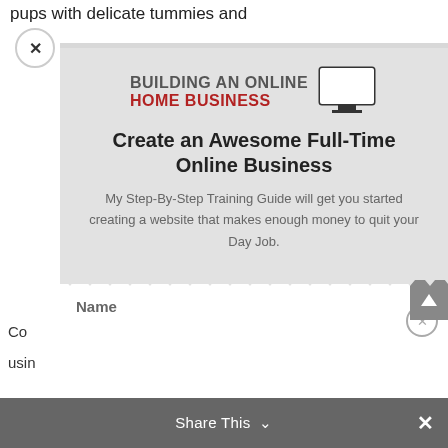pups with delicate tummies and
[Figure (screenshot): Modal popup overlay showing 'Building an Online Home Business' with monitor icon, headline 'Create an Awesome Full-Time Online Business', subtext about Step-By-Step Training Guide, a form field with Name label, and a bottom Share This bar]
Co
usin
Name